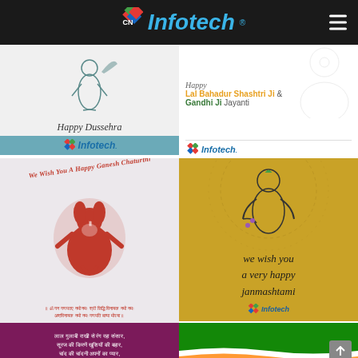[Figure (logo): CN Infotech logo with diamond graphic and cyan italic text on black header bar with hamburger menu]
[Figure (illustration): Happy Dussehra greeting card with warrior figure, cursive text 'Happy Dussehra' and Infotech branding on teal banner]
[Figure (illustration): Happy Lal Bahadur Shashtri Ji & Gandhi Ji Jayanti greeting with line art portrait and Infotech branding]
[Figure (illustration): We Wish You A Happy Ganesh Chaturthi card with red Ganesha figure and Hindi mantra text]
[Figure (illustration): We wish you a very happy Janmashtami card with Krishna playing flute on golden background]
[Figure (illustration): Rakhi greeting in Hindi: laal gulaabi raakhi se rang raha sansaar... on purple background]
[Figure (illustration): Indian Independence/flag themed card with green, white, orange tricolor wave design]